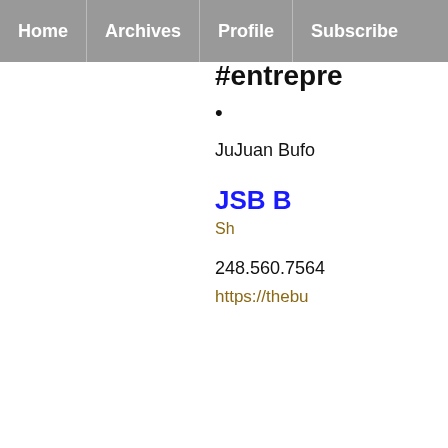Home | Archives | Profile | Subscribe
#entre...
•
JuJuan Bufo...
JSB B...
Sh...
248.560.7564...
https://thebu...